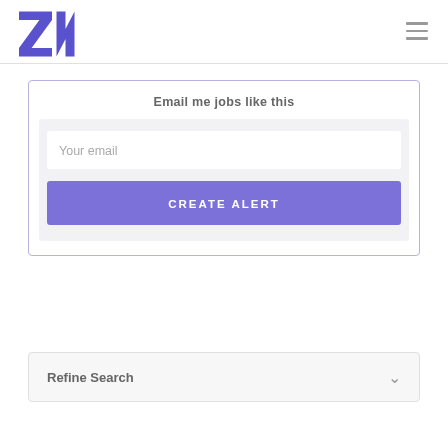[Figure (logo): ZK logo in purple/indigo color, stylized letters Z and K]
Email me jobs like this
Your email
CREATE ALERT
Refine Search